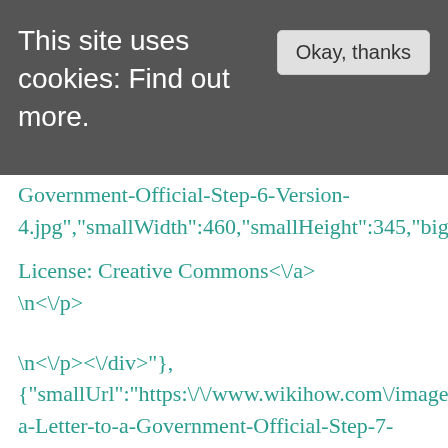This site uses cookies: Find out more.
Okay, thanks
Government-Official-Step-6-Version-4.jpg","smallWidth":460,"smallHeight":345,"bigWidth
License: Creative Commons<\/a>
<\/p>
\n<\/p><\/div>"},
{"smallUrl":"https:\/\/www.wikihow.com\/images\/th a-Letter-to-a-Government-Official-Step-7-Version-4.jpg\/v4-460px-Address-a-Letter-to-a-Government-Official-Step-7-Version-4.jpg","bigUrl":"\/images\/thumb\/5\/5b\/Address-